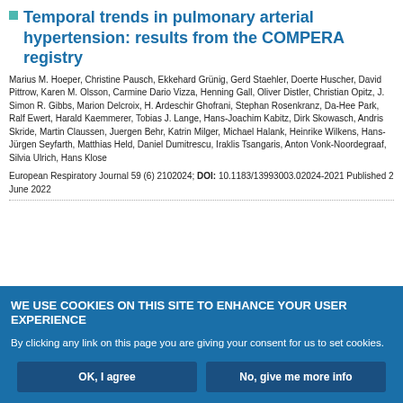Temporal trends in pulmonary arterial hypertension: results from the COMPERA registry
Marius M. Hoeper, Christine Pausch, Ekkehard Grünig, Gerd Staehler, Doerte Huscher, David Pittrow, Karen M. Olsson, Carmine Dario Vizza, Henning Gall, Oliver Distler, Christian Opitz, J. Simon R. Gibbs, Marion Delcroix, H. Ardeschir Ghofrani, Stephan Rosenkranz, Da-Hee Park, Ralf Ewert, Harald Kaemmerer, Tobias J. Lange, Hans-Joachim Kabitz, Dirk Skowasch, Andris Skride, Martin Claussen, Juergen Behr, Katrin Milger, Michael Halank, Heinrike Wilkens, Hans-Jürgen Seyfarth, Matthias Held, Daniel Dumitrescu, Iraklis Tsangaris, Anton Vonk-Noordegraaf, Silvia Ulrich, Hans Klose
European Respiratory Journal 59 (6) 2102024; DOI: 10.1183/13993003.02024-2021 Published 2 June 2022
WE USE COOKIES ON THIS SITE TO ENHANCE YOUR USER EXPERIENCE
By clicking any link on this page you are giving your consent for us to set cookies.